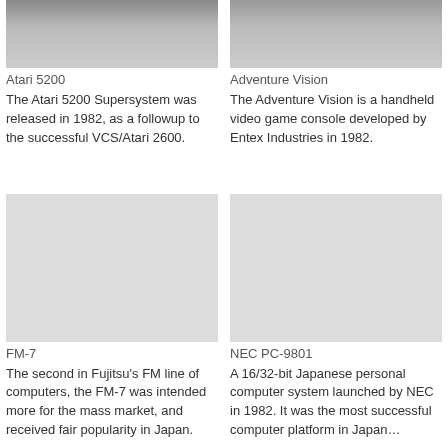[Figure (photo): Atari 5200 console image (partially visible, cropped at top)]
Atari 5200
The Atari 5200 Supersystem was released in 1982, as a followup to the successful VCS/Atari 2600.
[Figure (photo): Adventure Vision handheld console image (partially visible, cropped at top)]
Adventure Vision
The Adventure Vision is a handheld video game console developed by Entex Industries in 1982.
[Figure (photo): FM-7 computer image (large blank/missing area)]
FM-7
The second in Fujitsu's FM line of computers, the FM-7 was intended more for the mass market, and received fair popularity in Japan.
[Figure (photo): NEC PC-9801 computer image (large blank/missing area)]
NEC PC-9801
A 16/32-bit Japanese personal computer system launched by NEC in 1982. It was the most successful computer platform in Japan…